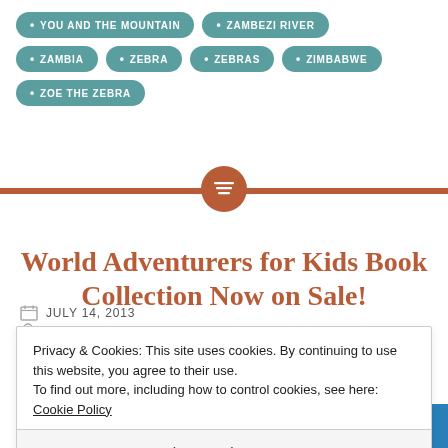YOU AND THE MOUNTAIN
ZAMBEZI RIVER
ZAMBIA
ZEBRA
ZEBRAS
ZIMBABWE
ZOE THE ZEBRA
World Adventurers for Kids Book Collection Now on Sale!
JULY 14, 2013
MGEDWARDS
Privacy & Cookies: This site uses cookies. By continuing to use this website, you agree to their use.
To find out more, including how to control cookies, see here: Cookie Policy
Close and accept